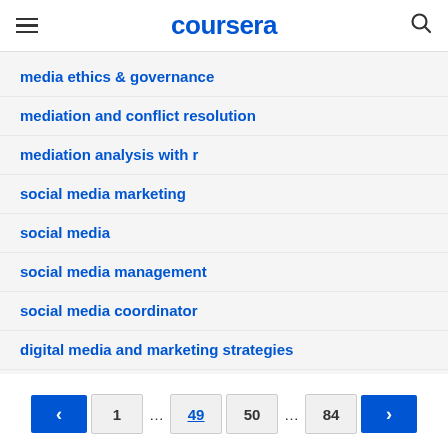coursera
media ethics & governance
mediation and conflict resolution
mediation analysis with r
social media marketing
social media
social media management
social media coordinator
digital media and marketing strategies
< 1 … 49 50 … 84 >